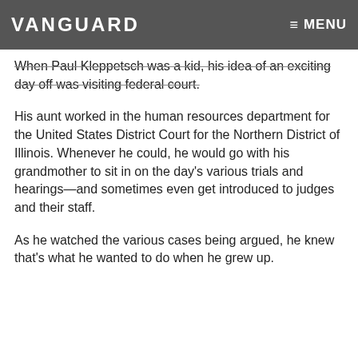VANGUARD   ≡ MENU
When Paul Kleppetsch was a kid, his idea of an exciting day off was visiting federal court.
His aunt worked in the human resources department for the United States District Court for the Northern District of Illinois. Whenever he could, he would go with his grandmother to sit in on the day's various trials and hearings—and sometimes even get introduced to judges and their staff.
As he watched the various cases being argued, he knew that's what he wanted to do when he grew up.